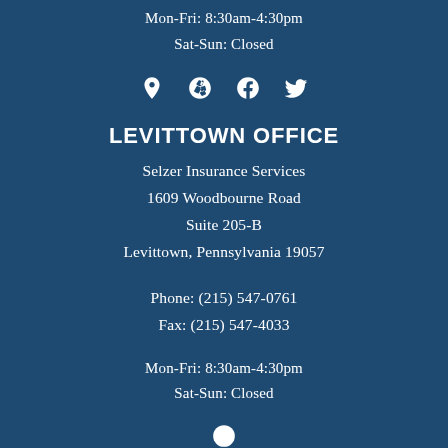Mon-Fri: 8:30am-4:30pm
Sat-Sun: Closed
[Figure (infographic): Row of social media icons: location pin, Yelp, Facebook, Twitter]
LEVITTOWN OFFICE
Selzer Insurance Services
1609 Woodbourne Road
Suite 205-B
Levittown, Pennsylvania 19057
Phone: (215) 547-0761
Fax: (215) 547-4033
Mon-Fri: 8:30am-4:30pm
Sat-Sun: Closed
[Figure (infographic): Partial social media icon visible at bottom]